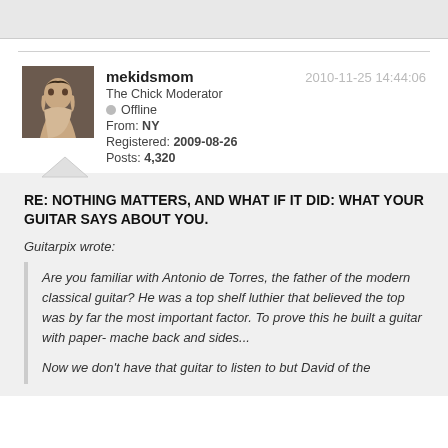2010-11-25 14:44:06
[Figure (photo): Avatar photo of user mekidsmom, a woman smiling]
mekidsmom
The Chick Moderator
Offline
From: NY
Registered: 2009-08-26
Posts: 4,320
RE: NOTHING MATTERS, AND WHAT IF IT DID: WHAT YOUR GUITAR SAYS ABOUT YOU.
Guitarpix wrote:
Are you familiar with Antonio de Torres, the father of the modern classical guitar? He was a top shelf luthier that believed the top was by far the most important factor. To prove this he built a guitar with paper- mache back and sides...

Now we don't have that guitar to listen to but David of the